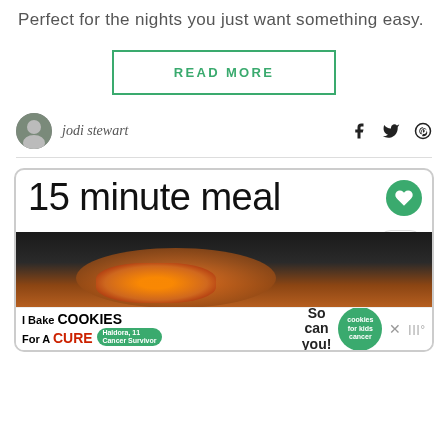Perfect for the nights you just want something easy.
READ MORE
jodi stewart
[Figure (illustration): Blog post card showing '15 minute meal' title with a food photo below and social sharing icons, plus a banner advertisement for 'I Bake Cookies For A Cure' at the bottom]